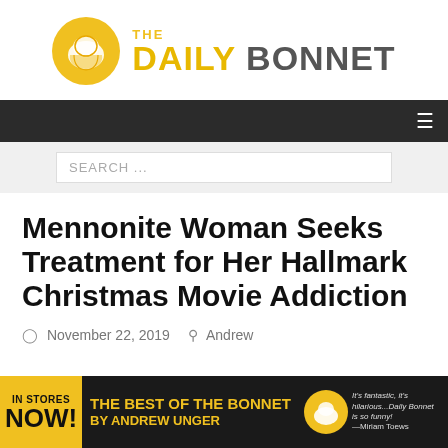[Figure (logo): The Daily Bonnet logo with yellow circle containing a bonnet illustration and text 'THE DAILY BONNET' in yellow and gray]
Navigation bar with hamburger menu icon
SEARCH ...
Mennonite Woman Seeks Treatment for Her Hallmark Christmas Movie Addiction
November 22, 2019  Andrew
[Figure (infographic): Banner advertisement: 'IN STORES NOW! The Best of the Bonnet BY ANDREW UNGER' with Daily Bonnet logo and quote "It's fantastic, it's hilarious...Daily Bonnet is so funny! —Miriam Toews"]